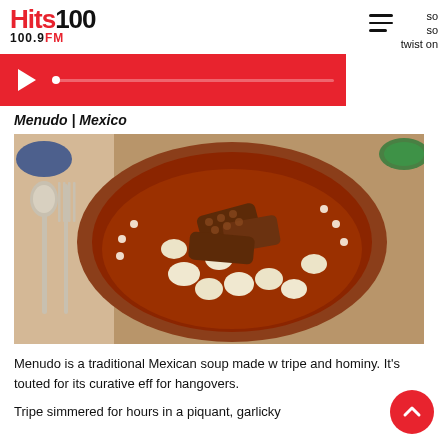[Figure (logo): Hits 100 100.9FM radio station logo with red Hits text and black 100]
twist on
[Figure (screenshot): Red radio player bar with play button and progress track]
Menudo | Mexico
[Figure (photo): A clay bowl of Menudo (traditional Mexican soup) with tripe and hominy, with a fork and spoon visible on the left side, green garnishes in background]
Menudo is a traditional Mexican soup made w tripe and hominy. It's touted for its curative eff for hangovers.
Tripe simmered for hours in a piquant, garlicky